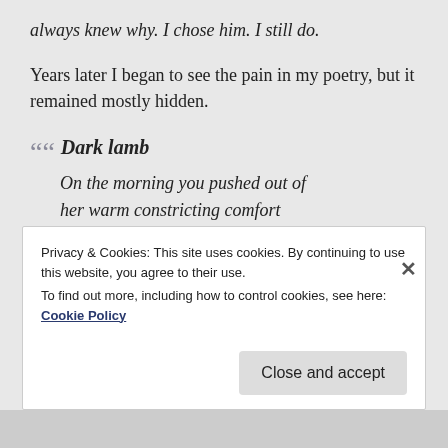always knew why. I chose him. I still do.
Years later I began to see the pain in my poetry, but it remained mostly hidden.
Dark lamb
On the morning you pushed out of
her warm constricting comfort
did you know
you weren't
snow white pure desired
did you sense
Privacy & Cookies: This site uses cookies. By continuing to use this website, you agree to their use.
To find out more, including how to control cookies, see here: Cookie Policy
Close and accept